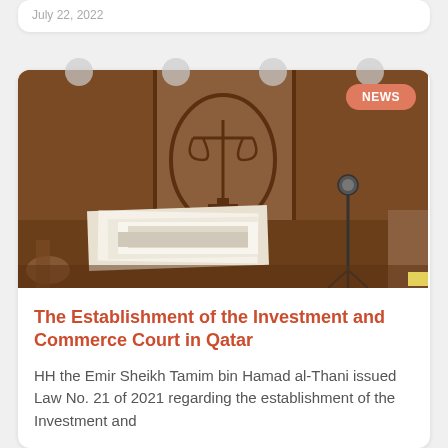July 22, 2022
[Figure (photo): Courtroom interior with wooden paneling, scales of justice emblem, papers stacked on a desk, and a microphone on a stand. NEWS badge in top right corner.]
The Establishment of the Investment and Commerce Court in Qatar
HH the Emir Sheikh Tamim bin Hamad al-Thani issued Law No. 21 of 2021 regarding the establishment of the Investment and